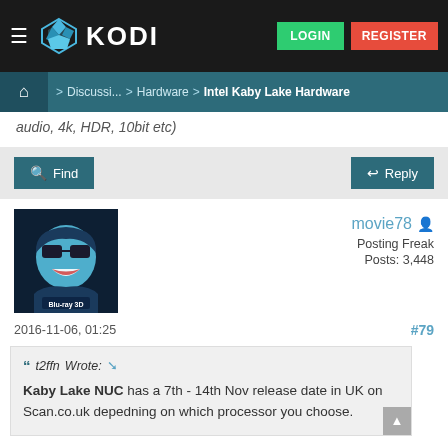KODI — LOGIN REGISTER
Discussi... > Hardware > Intel Kaby Lake Hardware
audio, 4k, HDR, 10bit etc)
Find  Reply
movie78  Posting Freak  Posts: 3,448
2016-11-06, 01:25  #79
t2ffn Wrote:  Kaby Lake NUC has a 7th - 14th Nov release date in UK on Scan.co.uk depedning on which processor you choose.